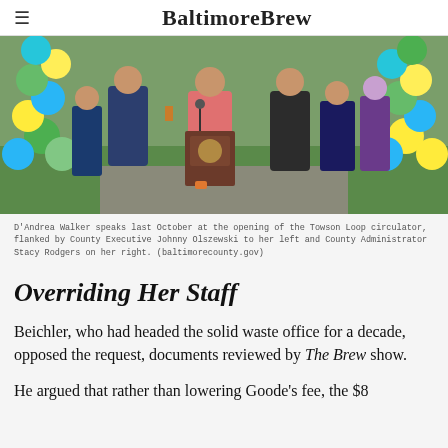BaltimoreBrew
[Figure (photo): Outdoor event photo showing a woman in a pink blazer speaking at a podium with a Baltimore County seal, flanked by other officials, with colorful balloon arches (blue, green, yellow) on both sides, on a grassy area.]
D'Andrea Walker speaks last October at the opening of the Towson Loop circulator, flanked by County Executive Johnny Olszewski to her left and County Administrator Stacy Rodgers on her right. (baltimorecounty.gov)
Overriding Her Staff
Beichler, who had headed the solid waste office for a decade, opposed the request, documents reviewed by The Brew show.
He argued that rather than lowering Goode's fee, the $8